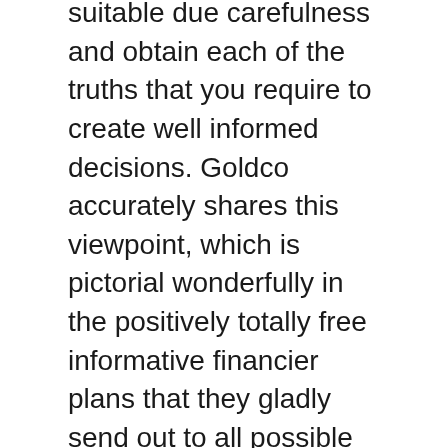suitable due carefulness and obtain each of the truths that you require to create well informed decisions. Goldco accurately shares this viewpoint, which is pictorial wonderfully in the positively totally free informative financier plans that they gladly send out to all possible clients who request them.
With this specialist info in palm from those who know the gold markets better, discussed in nonprofessional's phrases, prospective and current consumers can only make sound expenditure decisions supported through precise info, not hype and/or marketing gibberish whose simply simply reason is to plump gold dealership pocketbooks.
As such, Goldco upon demand comes up